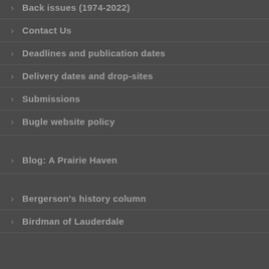Back issues (1974-2022)
Contact Us
Deadlines and publication dates
Delivery dates and drop-sites
Submissions
Bugle website policy
Blog: A Prairie Haven
Bergerson's history column
Birdman of Lauderdale